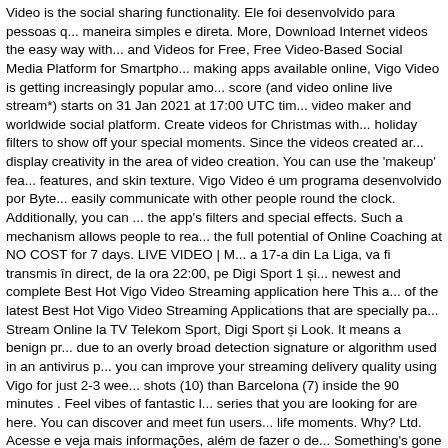Video is the social sharing functionality. Ele foi desenvolvido para pessoas q... maneira simples e direta. More, Download Internet videos the easy way with... and Videos for Free, Free Video-Based Social Media Platform for Smartpho... making apps available online, Vigo Video is getting increasingly popular amo... score (and video online live stream*) starts on 31 Jan 2021 at 17:00 UTC tim... video maker and worldwide social platform. Create videos for Christmas with... holiday filters to show off your special moments. Since the videos created ar... display creativity in the area of video creation. You can use the 'makeup' fea... features, and skin texture. Vigo Video é um programa desenvolvido por Byte... easily communicate with other people round the clock. Additionally, you can ... the app's filters and special effects. Such a mechanism allows people to rea... the full potential of Online Coaching at NO COST for 7 days. LIVE VIDEO | M... a 17-a din La Liga, va fi transmis în direct, de la ora 22:00, pe Digi Sport 1 și... newest and complete Best Hot Vigo Video Streaming application here This a... of the latest Best Hot Vigo Video Streaming Applications that are specially pa... Stream Online la TV Telekom Sport, Digi Sport și Look. It means a benign pr... due to an overly broad detection signature or algorithm used in an antivirus p... you can improve your streaming delivery quality using Vigo for just 2-3 wee... shots (10) than Barcelona (7) inside the 90 minutes . Feel vibes of fantastic l... series that you are looking for are here. You can discover and meet fun users... life moments. Why? Ltd. Acesse e veja mais informações, além de fazer o de... Something's gone terribly wrong.Try this instead. Vigo Video is very easy to ... to create daily content in a simple, direct way. Tap to sign up with your Faceb... Twitter. This video is unavailable. By adding tag words that describe for Gam... Games and Apps be more discoverable by other APKPure users. Café de R...